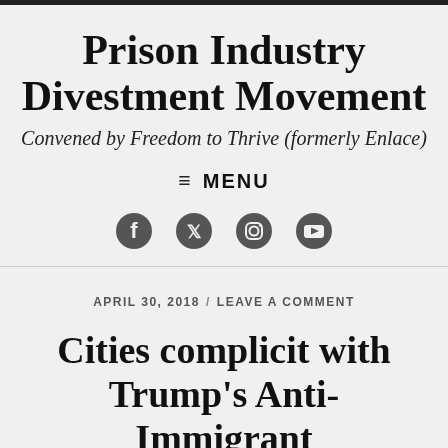Prison Industry Divestment Movement
Convened by Freedom to Thrive (formerly Enlace)
≡ MENU
Social icons: Facebook, Twitter, Instagram, YouTube
APRIL 30, 2018 / LEAVE A COMMENT
Cities complicit with Trump's Anti-Immigrant